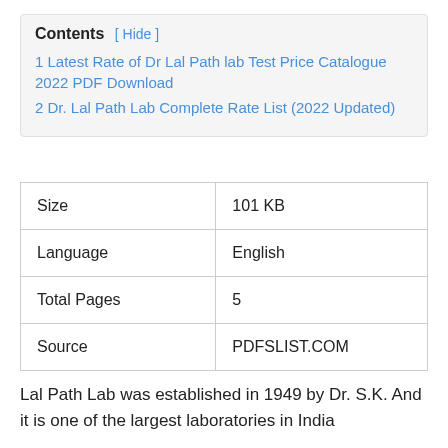Contents [ Hide ]
1 Latest Rate of Dr Lal Path lab Test Price Catalogue 2022 PDF Download
2 Dr. Lal Path Lab Complete Rate List (2022 Updated)
| Size | 101 KB |
| Language | English |
| Total Pages | 5 |
| Source | PDFSLIST.COM |
Lal Path Lab was established in 1949 by Dr. S.K. And it is one of the largest laboratories in India